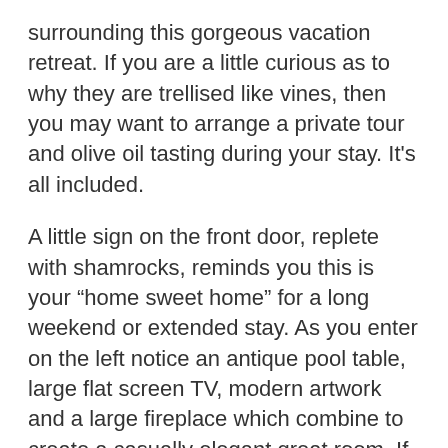surrounding this gorgeous vacation retreat. If you are a little curious as to why they are trellised like vines, then you may want to arrange a private tour and olive oil tasting during your stay. It's all included.
A little sign on the front door, replete with shamrocks, reminds you this is your “home sweet home” for a long weekend or extended stay. As you enter on the left notice an antique pool table, large flat screen TV, modern artwork and a large fireplace which combine to create a casually elegant great room. If you need breathing space this classic residence in the hills of San Luis Obispo County will provide it.
Enter to the right and you’ll find your master suite just down the hall. Remaining bedroom suites and bath are upstairs. The large farmhouse kitchen in this vacation home invites you to explore your own